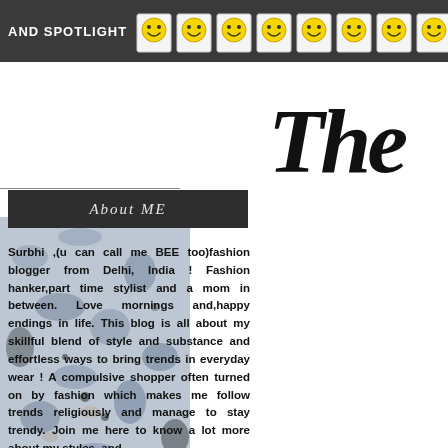AND SPOTLIGHT
[Figure (logo): Script logo text 'The' in black brush lettering, partially visible on upper right]
About ME
Surbhi ,(u can call me BEE too)fashion blogger from Delhi, India ! Fashion hanker,part time stylist and a mom in between. Love mornings and,happy endings in life. This blog is all about my skillful blend of style and substance and effortless ways to bring trends in everyday wear ! A compulsive shopper often turned on by fashion which makes me follow trends religiously and manage to stay trendy. Join me here to know a lot more about my styles ,and
THURSDAY, 28 APR
[Figure (photo): Partial photo of a blue-grey textured fabric or material]